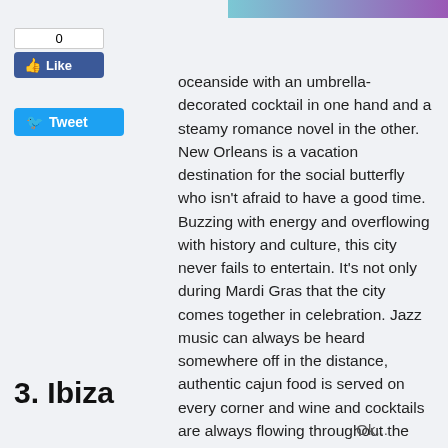[Figure (photo): Partial image visible at top of page, colorful strip suggesting a photo]
[Figure (screenshot): Facebook Like button with count 0 and Twitter Tweet button]
oceanside with an umbrella-decorated cocktail in one hand and a steamy romance novel in the other. New Orleans is a vacation destination for the social butterfly who isn't afraid to have a good time. Buzzing with energy and overflowing with history and culture, this city never fails to entertain. It's not only during Mardi Gras that the city comes together in celebration. Jazz music can always be heard somewhere off in the distance, authentic cajun food is served on every corner and wine and cocktails are always flowing throughout the streets (like in Vegas, but at a fraction of the cost.)
3. Ibiza
Ok...